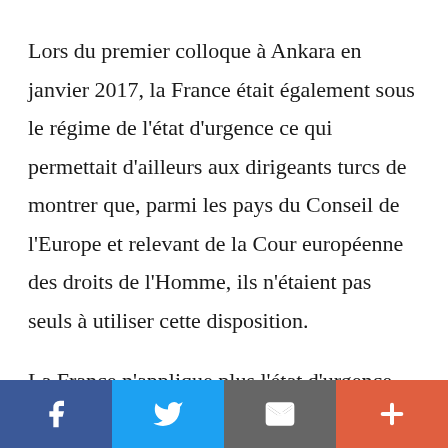Lors du premier colloque à Ankara en janvier 2017, la France était également sous le régime de l'état d'urgence ce qui permettait d'ailleurs aux dirigeants turcs de montrer que, parmi les pays du Conseil de l'Europe et relevant de la Cour européenne des droits de l'Homme, ils n'étaient pas seuls à utiliser cette disposition.

La France n'applique plus l'état d'urgence depuis un an, ce qui permet de voir ce qui a
Facebook | Twitter | Email | +